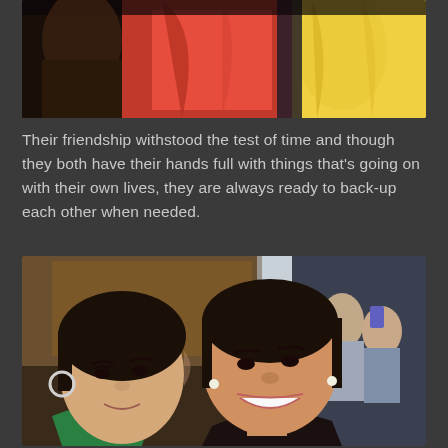[Figure (photo): Two women in bright outfits (red and yellow), partial torso shot from above]
Their friendship withstood the test of time and though they both have their hands full with things that's going on with their own lives, they are always ready to back-up each other when needed.
[Figure (photo): Selfie of two smiling young women cheek-to-cheek at an indoor event, other people visible in the background]